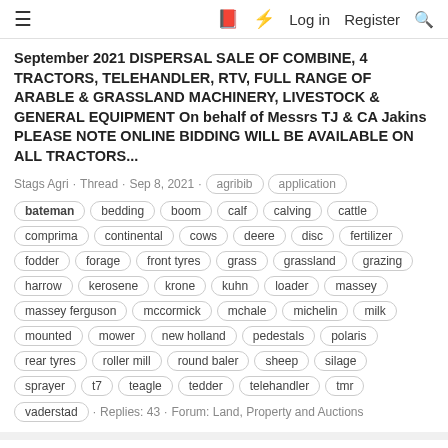≡   □  ⚡  Log in  Register  🔍
September 2021 DISPERSAL SALE OF COMBINE, 4 TRACTORS, TELEHANDLER, RTV, FULL RANGE OF ARABLE & GRASSLAND MACHINERY, LIVESTOCK & GENERAL EQUIPMENT On behalf of Messrs TJ & CA Jakins PLEASE NOTE ONLINE BIDDING WILL BE AVAILABLE ON ALL TRACTORS...
Stags Agri · Thread · Sep 8, 2021 · agribib application bateman bedding boom calf calving cattle comprima continental cows deere disc fertilizer fodder forage front tyres grass grassland grazing harrow kerosene krone kuhn loader massey massey ferguson mccormick mchale michelin milk mounted mower new holland pedestals polaris rear tyres roller mill round baler sheep silage sprayer t7 teagle tedder telehandler tmr vaderstad · Replies: 43 · Forum: Land, Property and Auctions
Trailered or self propelled sprayers
Considering a budget of 15000. Do you go for a old self propelled or a newer trailered sprayer,
Notbluewontdo · Thread · Aug 31, 2021 · bateman blight